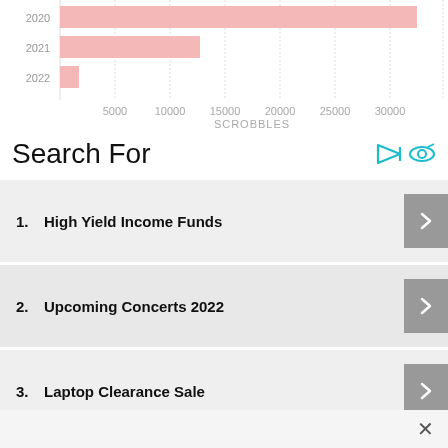[Figure (bar-chart): Scrobbles by year]
Search For
1.  High Yield Income Funds
2.  Upcoming Concerts 2022
3.  Laptop Clearance Sale
4.  Download Free Songs